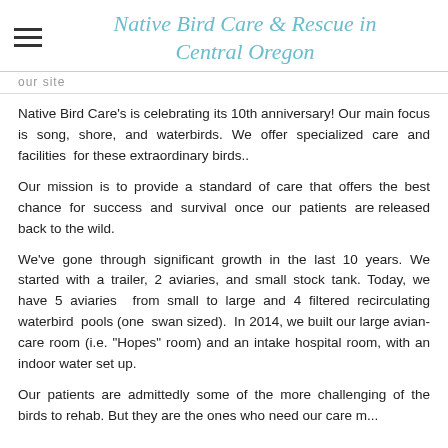Native Bird Care & Rescue in Central Oregon
Native Bird Care's is celebrating its 10th anniversary! Our main focus is song, shore, and waterbirds. We offer specialized care and facilities for these extraordinary birds..
Our mission is to provide a standard of care that offers the best chance for success and survival once our patients are released back to the wild.
We've gone through significant growth in the last 10 years. We started with a trailer, 2 aviaries, and small stock tank. Today, we have 5 aviaries from small to large and 4 filtered recirculating waterbird pools (one swan sized). In 2014, we built our large avian-care room (i.e. "Hopes" room) and an intake hospital room, with an indoor water set up.
Our patients are admittedly some of the more challenging of the birds to rehab. But they are the ones who need our care most.